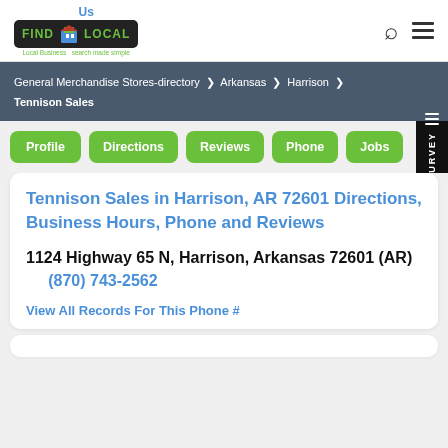[Figure (logo): Find Us Local logo with green text on dark background and blue building icon]
General Merchandise Stores-directory > Arkansas > Harrison > Tennison Sales
Profile
Directions
Reviews
Phone
Jobs
Tennison Sales in Harrison, AR 72601 Directions, Business Hours, Phone and Reviews
1124 Highway 65 N, Harrison, Arkansas 72601 (AR)    (870) 743-2562
View All Records For This Phone #